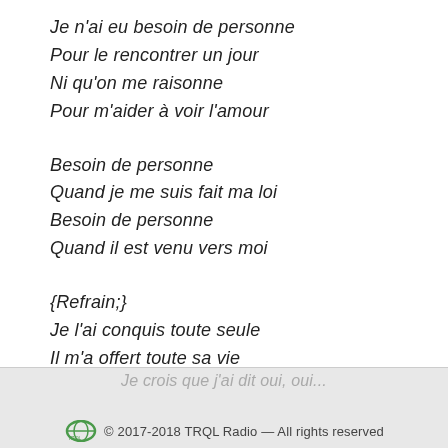Je n'ai eu besoin de personne
Pour le rencontrer un jour
Ni qu'on me raisonne
Pour m'aider à voir l'amour
Besoin de personne
Quand je me suis fait ma loi
Besoin de personne
Quand il est venu vers moi
{Refrain;}
Je l'ai conquis toute seule
Il m'a offert toute sa vie
Je crois que j'ai dit oui, oui...
© 2017-2018 TRQL Radio — All rights reserved